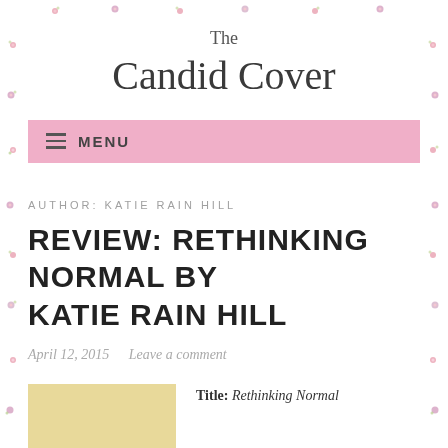The Candid Cover
MENU
AUTHOR: KATIE RAIN HILL
REVIEW: RETHINKING NORMAL BY KATIE RAIN HILL
April 12, 2015   Leave a comment
Title: Rethinking Normal